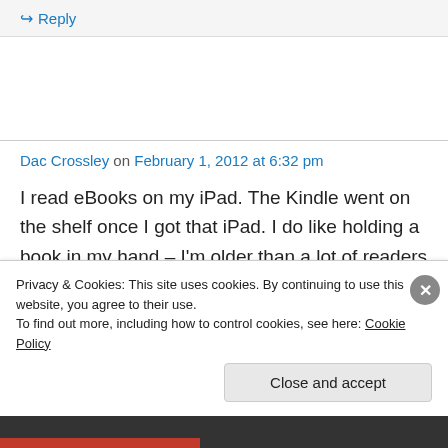Reply
Dac Crossley on February 1, 2012 at 6:32 pm
I read eBooks on my iPad. The Kindle went on the shelf once I got that iPad. I do like holding a book in my hand – I'm older than a lot of readers now and may not be typical. The eBook has
Privacy & Cookies: This site uses cookies. By continuing to use this website, you agree to their use.
To find out more, including how to control cookies, see here: Cookie Policy
Close and accept